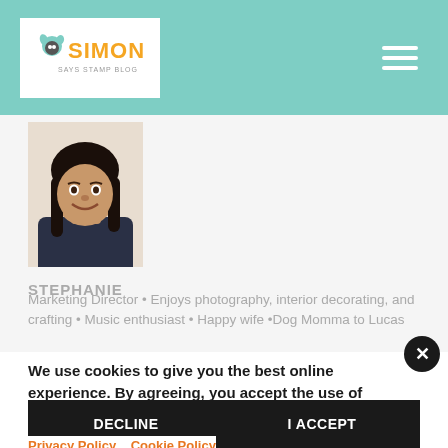SIMON SAYS STAMP BLOG
[Figure (photo): Headshot of Stephanie, a woman with dark hair, smiling]
STEPHANIE
Marketing Director • Enjoys photography, interior decorating, and crafting • Music enthusiast • Happy wife •Dog Momma to Lucas
We use cookies to give you the best online experience. By agreeing, you accept the use of cookies in accordance with our cookie policy.
DECLINE
I ACCEPT
Privacy Policy   Cookie Policy